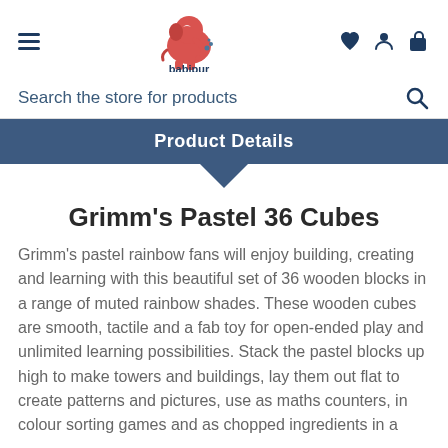[Figure (logo): Babipur logo: red elephant with crescent and splash, text 'babipur' below in dark blue]
Search the store for products
Product Details
Grimm's Pastel 36 Cubes
Grimm's pastel rainbow fans will enjoy building, creating and learning with this beautiful set of 36 wooden blocks in a range of muted rainbow shades. These wooden cubes are smooth, tactile and a fab toy for open-ended play and unlimited learning possibilities. Stack the pastel blocks up high to make towers and buildings, lay them out flat to create patterns and pictures, use as maths counters, in colour sorting games and as chopped ingredients in a